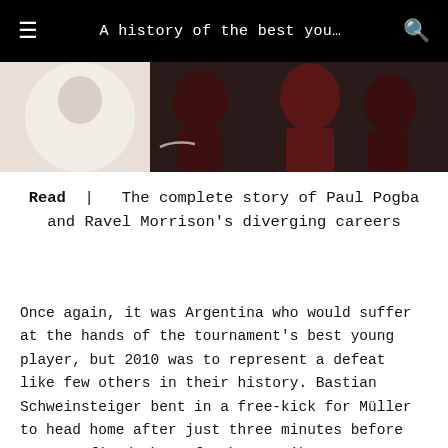A history of the best you…
[Figure (photo): Sports photo showing athletes, partial view of players in red and black jerseys with Nike logo visible]
Read | The complete story of Paul Pogba and Ravel Morrison's diverging careers
Once again, it was Argentina who would suffer at the hands of the tournament's best young player, but 2010 was to represent a defeat like few others in their history. Bastian Schweinsteiger bent in a free-kick for Müller to head home after just three minutes before Germany fired three further strikes past Sergio Romero to score four for the second consecutive knockout game. However, a booking in the 34th minute